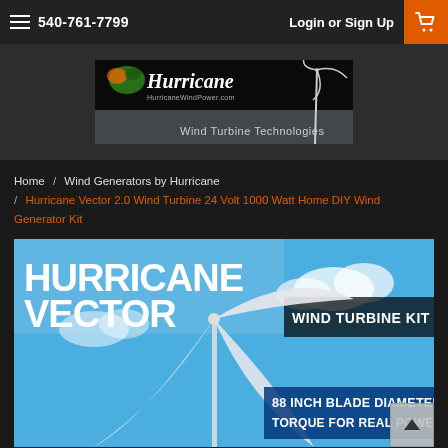540-761-7799  Login or Sign Up
[Figure (photo): Hurricane Wind Power logo banner with wind turbine image and text 'Wind Turbine Technologies']
Home / Wind Generators by Hurricane / Hurricane Vector 2.0 Wind Turbine 24 Volt 1000 Watt Home DIY Wind Generator Kit
[Figure (photo): Hurricane Vector Wind Turbine Kit product image with blue sky background, text: HURRICANE VECTOR WIND TURBINE KIT, 88 INCH BLADE DIAMETER TORQUE FOR REAL POWER]